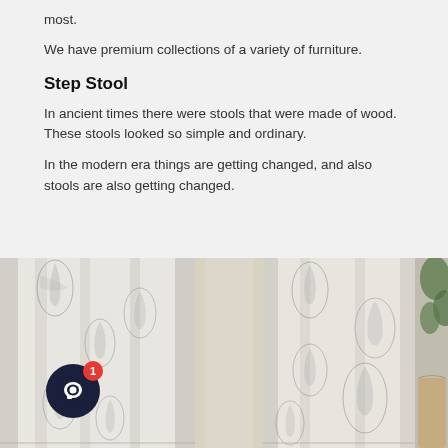most.
We have premium collections of a variety of furniture.
Step Stool
In ancient times there were stools that were made of wood. These stools looked so simple and ordinary.
In the modern era things are getting changed, and also stools are also getting changed.
[Figure (photo): Photo of white curtains with leaf/botanical print pattern displayed in a room setting, with a plant visible on the right side. A chat button with notification badge showing '1' is overlaid in the bottom-left area.]